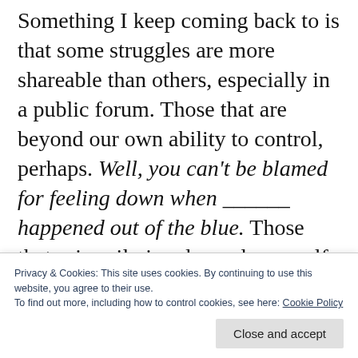Something I keep coming back to is that some struggles are more shareable than others, especially in a public forum. Those that are beyond our own ability to control, perhaps. Well, you can't be blamed for feeling down when ______ happened out of the blue. Those that primarily involve only oneself instead of a complicated network of people who might have different perspectives on the situation. Those that can be alleviated with the right combination of resources and a little bit of time, or that can be overcome with a bit more focus and personal
Privacy & Cookies: This site uses cookies. By continuing to use this website, you agree to their use.
To find out more, including how to control cookies, see here: Cookie Policy
accompanied by solutions manuals. I followed